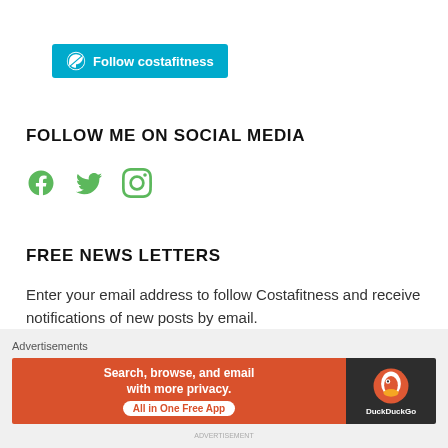[Figure (logo): WordPress Follow button: blue rounded rectangle with WordPress W icon and text 'Follow costafitness']
FOLLOW ME ON SOCIAL MEDIA
[Figure (infographic): Three green social media icons: Facebook, Twitter, Instagram]
FREE NEWS LETTERS
Enter your email address to follow Costafitness and receive notifications of new posts by email.
Enter your email address
Advertisements
[Figure (infographic): DuckDuckGo advertisement banner: orange section with text 'Search, browse, and email with more privacy. All in One Free App' and dark section with DuckDuckGo duck logo and DuckDuckGo text]